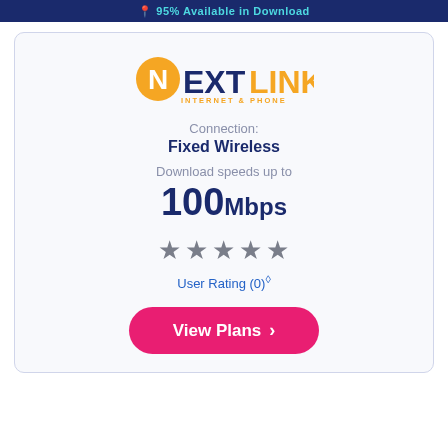95% Available in Download
[Figure (logo): Nextlink Internet & Phone logo with orange N circle and bold text]
Connection:
Fixed Wireless
Download speeds up to
100Mbps
[Figure (other): Five gray star rating icons]
User Rating (0)◇
View Plans >